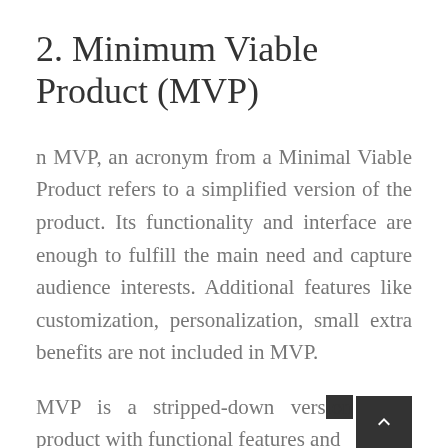2. Minimum Viable Product (MVP)
n MVP, an acronym from a Minimal Viable Product refers to a simplified version of the product. Its functionality and interface are enough to fulfill the main need and capture audience interests. Additional features like customization, personalization, small extra benefits are not included in MVP.
MVP is a stripped-down version of a product with functional features and